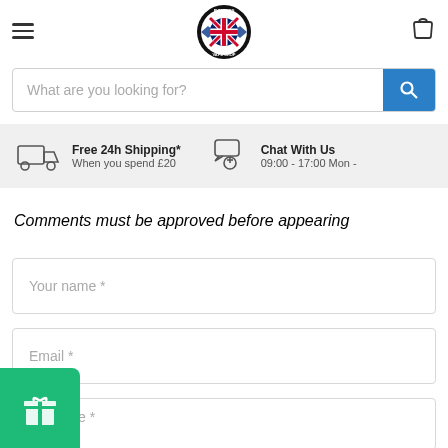[Figure (logo): Pioneers Vape Shop logo — circular badge with UK flag in center, black border with shop name]
What are you looking for?
Free 24h Shipping* When you spend £20
Chat With Us 09:00 - 17:00 Mon -
Comments must be approved before appearing
Your name *
Email *
Message *